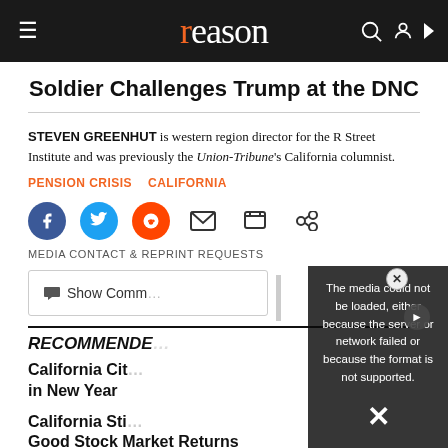reason
Soldier Challenges Trump at the DNC
STEVEN GREENHUT is western region director for the R Street Institute and was previously the Union-Tribune's California columnist.
PENSION CRISIS   CALIFORNIA
[Figure (screenshot): Social media share icons: Facebook, Twitter, Reddit, Email, Print, Link]
MEDIA CONTACT & REPRINT REQUESTS
Show Comments
RECOMMENDED
California Cities Face New Pension Costs in New Year
California Still Struggling Despite Good Stock Market Returns
[Figure (screenshot): Video error overlay: The media could not be loaded, either because the server or network failed or because the format is not supported.]